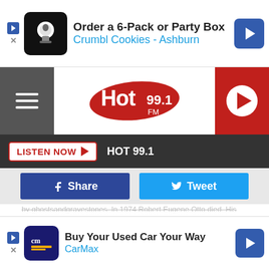[Figure (screenshot): Top advertisement banner: Order a 6-Pack or Party Box, Crumbl Cookies - Ashburn]
[Figure (logo): Hot 99.1 FM radio station logo header with hamburger menu and play button]
LISTEN NOW | HOT 99.1
Share | Tweet
by ghostsandgravestones. In 1974 Robert Eugene Otto died. His home was purchased by Myrtle Rueter. Rueter became... rumors is visitors would hear footsteps and giggling coming from the... donated the doll to Fort East Martello Museum in Key West, Florida. Robert is 111-years-old and still reside in the museum where he is famous more than ever. Since being placed at the museum Robert has appeared on
DOWNLOAD THE HOT 99.1 MOBILE APP
GET OUR FREE MOBILE APP
Also listen on: amazon alexa
[Figure (screenshot): Bottom advertisement: Buy Your Used Car Your Way, CarMax]